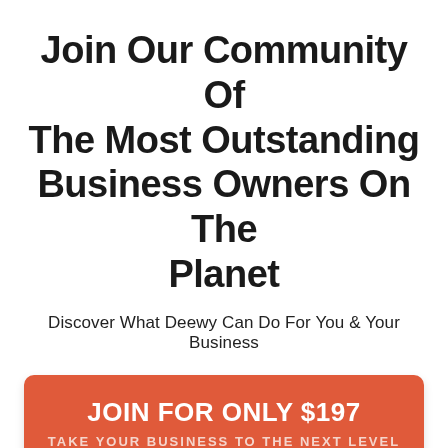Join Our Community Of The Most Outstanding Business Owners On The Planet
Discover What Deewy Can Do For You & Your Business
JOIN FOR ONLY $197
TAKE YOUR BUSINESS TO THE NEXT LEVEL
NO OBLIGATIONS, NO CONTRACTS, CANCEL AT ANY TIME